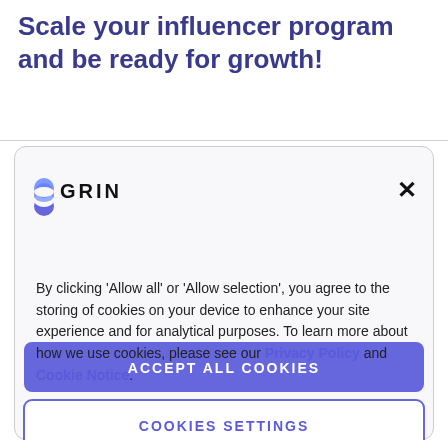Scale your influencer program and be ready for growth!
[Figure (screenshot): GRIN cookie consent modal dialog with logo, consent text, Accept All Cookies button, and Cookies Settings button]
By clicking 'Allow all' or 'Allow selection', you agree to the storing of cookies on your device to enhance your site experience and for analytical purposes. To learn more about how we use cookies, please see our Privacy Policy and Cookie Notice.